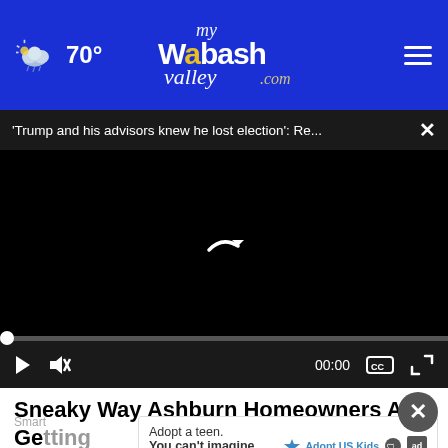myWabashValley.com — 70°
'Trump and his advisors knew he lost election': Re...  ✕
[Figure (screenshot): Black video player screen with a small curved white arrow/spinner icon in the center, indicating a loading or buffering state.]
▶  🔇  00:00  ⧉  ⛶
Sneaky Way Ashburn Homeowners Are Getting Their Old Roof Replaced
Smart
[Figure (infographic): Advertisement banner: 'Adopt a teen. You can't imagine the reward.' with Adopt US Kids logo and ad badge.]